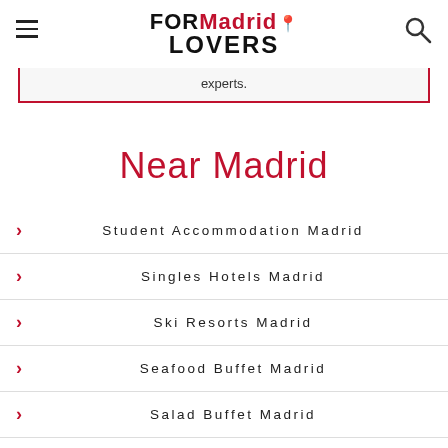FOR Madrid LOVERS
experts.
Near Madrid
Student Accommodation Madrid
Singles Hotels Madrid
Ski Resorts Madrid
Seafood Buffet Madrid
Salad Buffet Madrid
Sichuan Restaurants Madrid